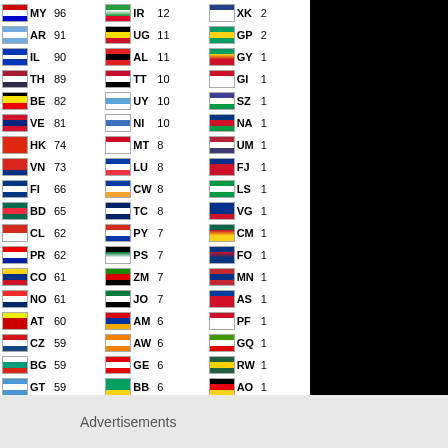| Flag | CC | Count | Flag | CC | Count | Flag | CC | Count |
| --- | --- | --- | --- | --- | --- | --- | --- | --- |
| MY | 96 | IR | 12 | XK | 2 |
| AR | 91 | UG | 11 | GP | 2 |
| IL | 90 | AL | 11 | GY | 1 |
| TH | 89 | TT | 10 | GI | 1 |
| BE | 82 | UY | 10 | SZ | 1 |
| VE | 81 | NI | 10 | NA | 1 |
| HK | 74 | MT | 8 | UM | 1 |
| VN | 73 | LU | 8 | FJ | 1 |
| FI | 66 | CW | 8 | LS | 1 |
| BD | 65 | TC | 8 | VG | 1 |
| CL | 62 | PY | 7 | CM | 1 |
| PR | 62 | PS | 7 | FO | 1 |
| CO | 61 | ZM | 7 | MN | 1 |
| NO | 61 | JO | 7 | AS | 1 |
| AT | 60 | AM | 6 | PF | 1 |
| CZ | 59 | AW | 6 | GQ | 1 |
| BG | 59 | GE | 6 | RW | 1 |
| GT | 59 | BB | 6 | AO | 1 |
| HR | 56 | BO | 6 | IM | 1 |
| RS | 53 | NP | 6 | CI | 1 |
| HU | 48 | MC | 5 | IO | 1 |
| UA | 47 | HN | 5 | MV | 1 |
| CR | 46 | SV | 5 | GL | 1 |
| EG | 41 | RE | 5 | TD | 1 |
| BM | 39 | KN | 5 | LI | 1 |
| PE | 37 | MZ | 5 |  |  |
Advertisements